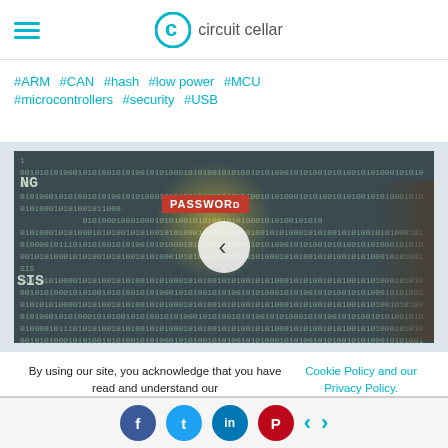circuit cellar
#ARM  #CAN  #hash  #low power  #MCU  #microcontrollers  #security  #USB
[Figure (photo): Video thumbnail showing binary code (0s and 1s) on screen with a highlighted 'PASSWORD' label in red and a play button overlay. A hand is visible at the right side touching the screen.]
By using our site, you acknowledge that you have read and understand our Cookie Policy and our Privacy Policy.
Social sharing buttons: Facebook, Twitter, LinkedIn, Pinterest with navigation arrows